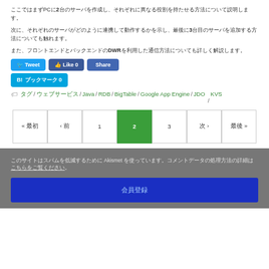ここではまずPCに2台のサーバを作成し、それぞれに異なる役割を持たせる方法について説明します。
次に、それぞれのサーバがどのように連携して動作するかを示し、最後に3台目のサーバを追加する方法についても触れます。
また、フロントエンドとバックエンドのDWRを利用した通信方法についても詳しく解説します。
[Figure (screenshot): Social sharing buttons: Tweet (blue), Like 0 (dark blue), Share (blue), B! ブックマーク 0 (light blue)]
タグ / ウェブサービス / Java / RDB / BigTable / Google App Engine / JDO / KVS
[Figure (other): Pagination control with buttons: « 最初, ‹ 前, 1, 2 (active/green), 3, 次 ›, 最後 »]
このサイトはスパムを低減するために Akismet を使っています。コメントデータの処理方法の詳細はこちらをご覧ください。
会員登録